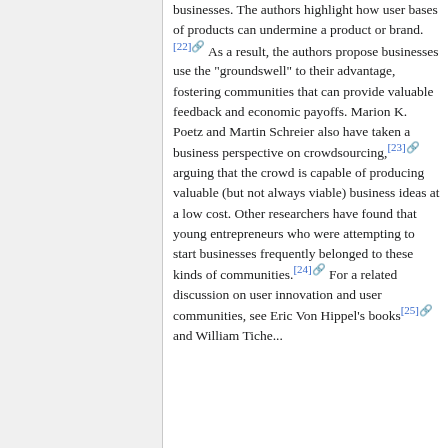businesses. The authors highlight how user bases of products can undermine a product or brand.[22] As a result, the authors propose businesses use the "groundswell" to their advantage, fostering communities that can provide valuable feedback and economic payoffs. Marion K. Poetz and Martin Schreier also have taken a business perspective on crowdsourcing,[23] arguing that the crowd is capable of producing valuable (but not always viable) business ideas at a low cost. Other researchers have found that young entrepreneurs who were attempting to start businesses frequently belonged to these kinds of communities.[24] For a related discussion on user innovation and user communities, see Eric Von Hippel's books[25] and William Tiche...